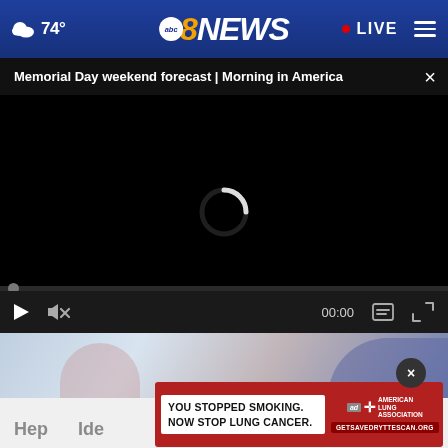74° abc8NEWS • LIVE
Memorial Day weekend forecast | Morning in America ×
[Figure (screenshot): Black video player area with spinning loading indicator, progress bar at bottom, and playback controls showing play button, mute icon, 00:00 timestamp, caption icon, and fullscreen icon]
[Figure (illustration): Partial view of article illustration showing figures in blue and pink tones]
Hep    Ide
[Figure (screenshot): Advertisement for American Lung Association: white box with text 'YOU STOPPED SMOKING. NOW STOP LUNG CANCER.' on red background, with ad badge and association logo and URL GetSAVEDRYTTESCAN.ORG]